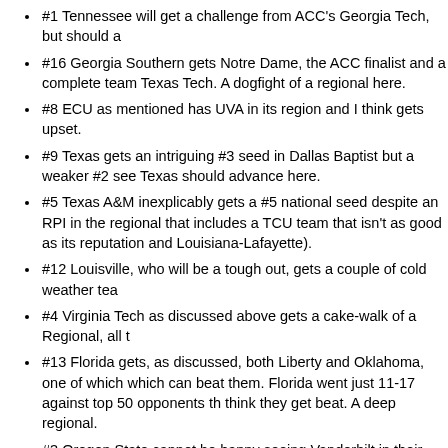#1 Tennessee will get a challenge from ACC's Georgia Tech, but should a
#16 Georgia Southern gets Notre Dame, the ACC finalist and a complete team Texas Tech. A dogfight of a regional here.
#8 ECU as mentioned has UVA in its region and I think gets upset.
#9 Texas gets an intriguing #3 seed in Dallas Baptist but a weaker #2 see Texas should advance here.
#5 Texas A&M inexplicably gets a #5 national seed despite an RPI in the regional that includes a TCU team that isn't as good as its reputation and Louisiana-Lafayette).
#12 Louisville, who will be a tough out, gets a couple of cold weather tea
#4 Virginia Tech as discussed above gets a cake-walk of a Regional, all t
#13 Florida gets, as discussed, both Liberty and Oklahoma, one of which which can beat them. Florida went just 11-17 against top 50 opponents th think they get beat. A deep regional.
#3 Oregon State cannot be happy seeing Vanderbilt in their regional; ups
#14 Auburn will, like nearly every SEC team, have to contend with an AC worried about a weaker Pac12 team in UCLA.
#6 Miami will have fun with two perennial powers in Arizona and Ole Miss teams probably cancel themselves out
#11 Southern Miss gets LSU and a tricky Kennesaw State team. Upset w
#7 Oklahoma State had to be happy to see Grand Canyon as its #2, ever in here as #3.